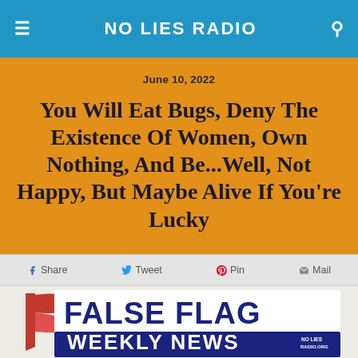NO LIES RADIO
June 10, 2022
You Will Eat Bugs, Deny The Existence Of Women, Own Nothing, And Be...Well, Not Happy, But Maybe Alive If You're Lucky
Share  Tweet  Pin  Mail
[Figure (logo): False Flag Weekly News logo with red waving flag graphic and blue bold text reading FALSE FLAG WEEKLY NEWS with NO LIES RADIO.ORG in corner]